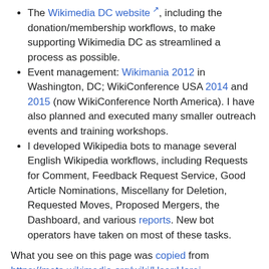The Wikimedia DC website, including the donation/membership workflows, to make supporting Wikimedia DC as streamlined a process as possible.
Event management: Wikimania 2012 in Washington, DC; WikiConference USA 2014 and 2015 (now WikiConference North America). I have also planned and executed many smaller outreach events and training workshops.
I developed Wikipedia bots to manage several English Wikipedia workflows, including Requests for Comment, Feedback Request Service, Good Article Nominations, Miscellany for Deletion, Requested Moves, Proposed Mergers, the Dashboard, and various reports. New bot operators have taken on most of these tasks.
What you see on this page was copied from https://meta.wikimedia.org/wiki/User:Harej.